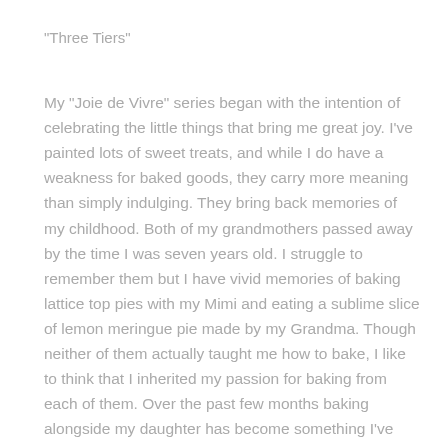"Three Tiers"
My "Joie de Vivre" series began with the intention of celebrating the little things that bring me great joy. I've painted lots of sweet treats, and while I do have a weakness for baked goods, they carry more meaning than simply indulging. They bring back memories of my childhood. Both of my grandmothers passed away by the time I was seven years old. I struggle to remember them but I have vivid memories of baking lattice top pies with my Mimi and eating a sublime slice of lemon meringue pie made by my Grandma. Though neither of them actually taught me how to bake, I like to think that I inherited my passion for baking from each of them. Over the past few months baking alongside my daughter has become something I've turned to for comfort. It never ceases to amaze me how the careful combination of a few simple ingredients can result in something so beautiful and delicious.... There is also the fantasy element. In my world the fox doesn't eat the squirrel, they share a table, toast to happiness, eat fancy